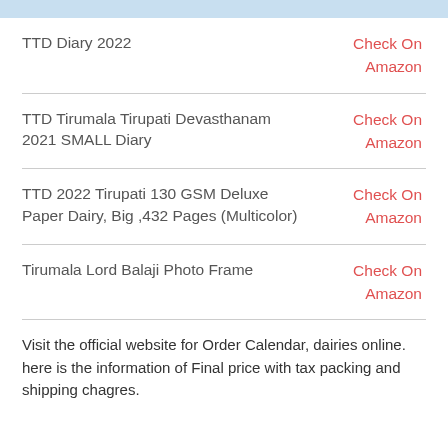| Product | Link |
| --- | --- |
| TTD Diary 2022 | Check On
Amazon |
| TTD Tirumala Tirupati Devasthanam 2021 SMALL Diary | Check On
Amazon |
| TTD 2022 Tirupati 130 GSM Deluxe Paper Dairy, Big ,432 Pages (Multicolor) | Check On
Amazon |
| Tirumala Lord Balaji Photo Frame | Check On
Amazon |
Visit the official website for Order Calendar, dairies online. here is the information of Final price with tax packing and shipping chagres.